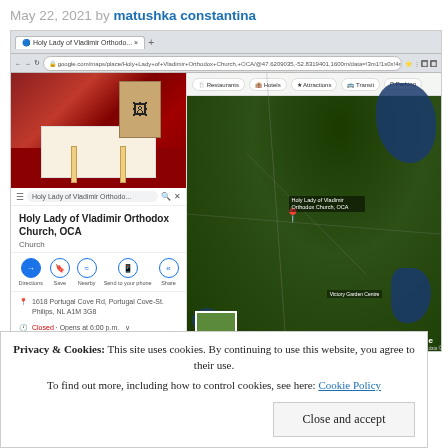May 22, 2021 by matushka constantina
[Figure (screenshot): Screenshot of Google Maps showing Holy Lady of Vladimir Orthodox Church, OCA. The left sidebar shows a photo of the church interior with icons and candles, the church name, address (1618 Portugal Cove Rd, Portugal Cove-St. Philips, NL A1M 3G8), hours (Opens at 6:00 pm), and website (alpinist-orthodox.org). The right side shows a satellite map view with the church location pinned. A Windows taskbar is visible at the bottom.]
Privacy & Cookies: This site uses cookies. By continuing to use this website, you agree to their use.
To find out more, including how to control cookies, see here: Cookie Policy
Close and accept